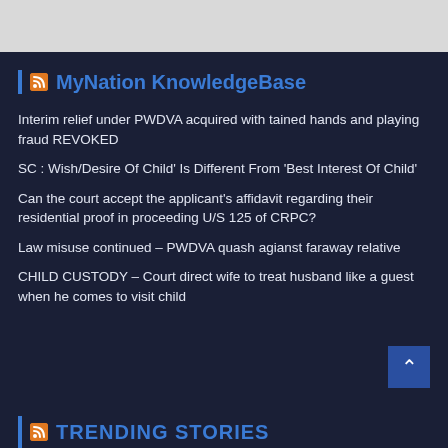MyNation KnowledgeBase
Interim relief under PWDVA acquired with tained hands and playing fraud REVOKED
SC : Wish/Desire Of Child’ Is Different From ‘Best Interest Of Child’
Can the court accept the applicant’s affidavit regarding their residential proof in proceeding U/S 125 of CRPC?
Law misuse continued – PWDVA quash agianst faraway relative
CHILD CUSTODY – Court direct wife to treat husband like a guest when he comes to visit child